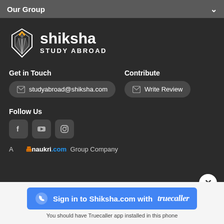Our Group
[Figure (logo): Shiksha Study Abroad logo with pen-nib icon in white and orange on dark background]
Get in Touch
studyabroad@shiksha.com
Contribute
Write Review
Follow Us
[Figure (other): Social media icons: Facebook, YouTube, Instagram]
A naukri.com Group Company
Sign in to Shiksha.com with truecaller
You should have Truecaller app installed in this phone